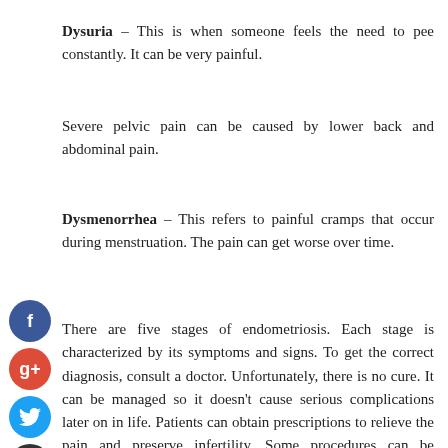Dysuria – This is when someone feels the need to pee constantly. It can be very painful.
Severe pelvic pain can be caused by lower back and abdominal pain.
Dysmenorrhea – This refers to painful cramps that occur during menstruation. The pain can get worse over time.
There are five stages of endometriosis. Each stage is characterized by its symptoms and signs. To get the correct diagnosis, consult a doctor. Unfortunately, there is no cure. It can be managed so it doesn't cause serious complications later on in life. Patients can obtain prescriptions to relieve the pain and preserve infertility. Some procedures can be performed on younger women to remove the cells. This does not mean that the condition will disappear in later life.